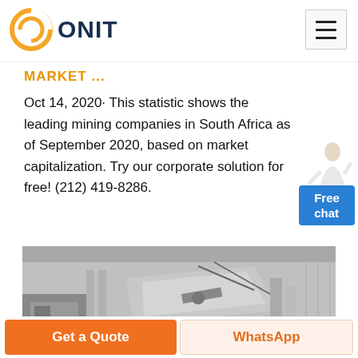[Figure (logo): ONIT company logo with orange circular icon and dark blue bold text 'ONIT']
MARKET ...
Oct 14, 2020· This statistic shows the leading mining companies in South Africa as of September 2020, based on market capitalization. Try our corporate solution for free! (212) 419-8286.
[Figure (photo): Black and white photo of industrial mining or waste management trucks/equipment near a building]
Get a Quote
WhatsApp